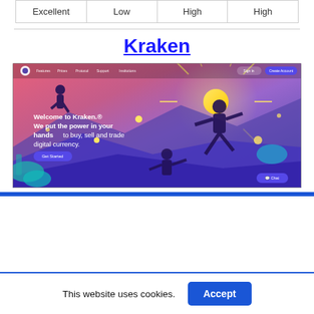| Excellent | Low | High | High |
Kraken
[Figure (screenshot): Screenshot of Kraken cryptocurrency exchange website homepage showing 'Welcome to Kraken. We put the power in your hands to buy, sell and trade digital currency.' with a Get Started button and colorful illustrated background featuring figures climbing mountains.]
This website uses cookies.
Accept